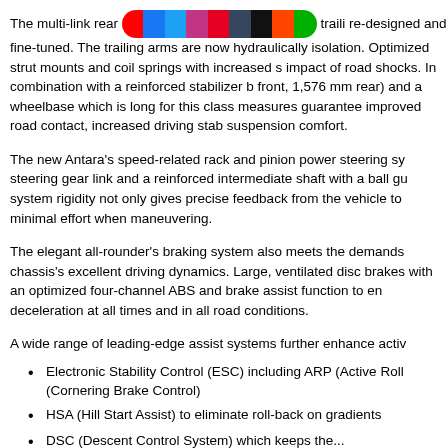The multi-link rear suspension with the trailing arms were re-designed and fine-tuned. The trailing arms are now hydraulically isolation. Optimized strut mounts and coil springs with increased sp impact of road shocks. In combination with a reinforced stabilizer b front, 1,576 mm rear) and a wheelbase which is long for this class measures guarantee improved road contact, increased driving stab suspension comfort.
The new Antara's speed-related rack and pinion power steering sy steering gear link and a reinforced intermediate shaft with a ball gu system rigidity not only gives precise feedback from the vehicle to minimal effort when maneuvering.
The elegant all-rounder's braking system also meets the demands chassis's excellent driving dynamics. Large, ventilated disc brakes with an optimized four-channel ABS and brake assist function to en deceleration at all times and in all road conditions.
A wide range of leading-edge assist systems further enhance activ
Electronic Stability Control (ESC) including ARP (Active Roll (Cornering Brake Control)
HSA (Hill Start Assist) to eliminate roll-back on gradients
DSC (Descent Control System) which keeps the...